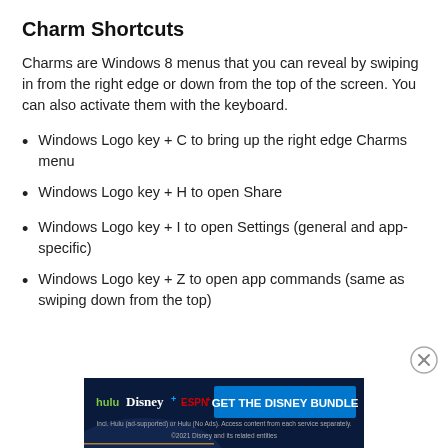Charm Shortcuts
Charms are Windows 8 menus that you can reveal by swiping in from the right edge or down from the top of the screen. You can also activate them with the keyboard.
Windows Logo key + C to bring up the right edge Charms menu
Windows Logo key + H to open Share
Windows Logo key + I to open Settings (general and app-specific)
Windows Logo key + Z to open app commands (same as swiping down from the top)
[Figure (infographic): Advertisement banner for the Disney Bundle featuring Hulu, Disney+, and ESPN+ logos with a blue 'GET THE DISNEY BUNDLE' call-to-action button and fine print text.]